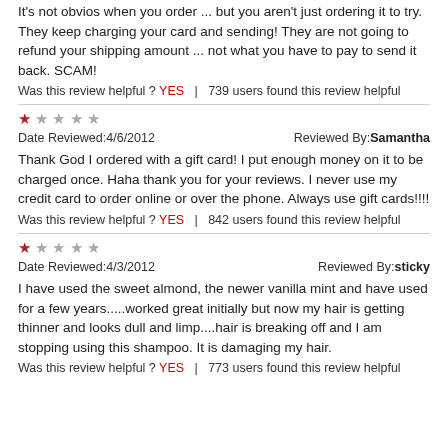It's not obvios when you order ... but you aren't just ordering it to try. They keep charging your card and sending! They are not going to refund your shipping amount ... not what you have to pay to send it back. SCAM!
Was this review helpful ? YES | 739 users found this review helpful
[Figure (other): 1-star rating: one filled red star and four empty stars]
Date Reviewed:4/6/2012    Reviewed By:Samantha
Thank God I ordered with a gift card! I put enough money on it to be charged once. Haha thank you for your reviews. I never use my credit card to order online or over the phone. Always use gift cards!!!!
Was this review helpful ? YES | 842 users found this review helpful
[Figure (other): 1-star rating: one filled red star and four empty stars]
Date Reviewed:4/3/2012    Reviewed By:sticky
I have used the sweet almond, the newer vanilla mint and have used for a few years.....worked great initially but now my hair is getting thinner and looks dull and limp....hair is breaking off and I am stopping using this shampoo. It is damaging my hair.
Was this review helpful ? YES | 773 users found this review helpful